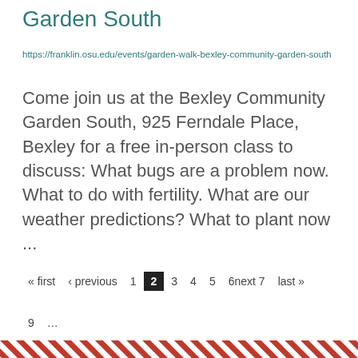Garden South
https://franklin.osu.edu/events/garden-walk-bexley-community-garden-south
Come join us at the Bexley Community Garden South, 925 Ferndale Place, Bexley for a free in-person class to discuss: What bugs are a problem now. What to do with fertility. What are our weather predictions? What to plant now ...
« first ‹ previous 1 2 3 4 5 6next 7 last » 9 ...